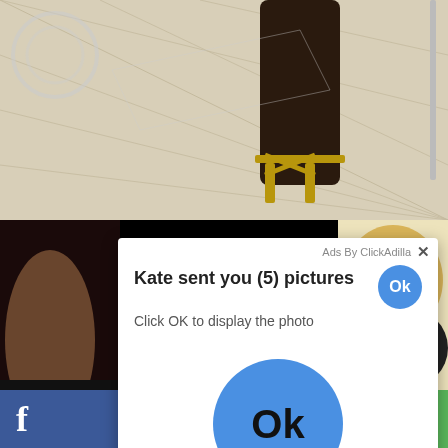[Figure (photo): Photo of legs wearing dark stockings and gold strappy high heels on a light tile floor]
[Figure (photo): Partial photo of a person in dark clothing on the bottom-left]
[Figure (photo): Partial photo showing blonde hair on the bottom-right]
[Figure (screenshot): Ad popup overlay: 'Ads By ClickAdilla' with X close button, title 'Kate sent you (5) pictures', subtitle 'Click OK to display the photo', small blue Ok button top-right, large blue Ok button center]
Ads By ClickAdilla
Kate sent you (5) pictures
Click OK to display the photo
cj4